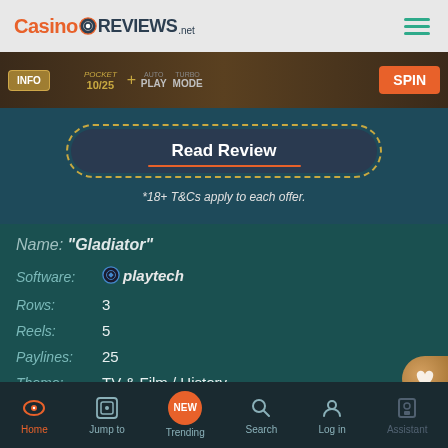Casino Reviews .net
[Figure (screenshot): Gladiator slot game interface showing INFO, POCKET 10/25, AUTO PLAY, TURBO MODE, and SPIN buttons]
Read Review
*18+ T&Cs apply to each offer.
Name: "Gladiator"
Software: Playtech
Rows: 3
Reels: 5
Paylines: 25
Theme: TV & Film / History
RTP: 94.09%
Home  Jump to  Trending  Search  Log in  Assistant